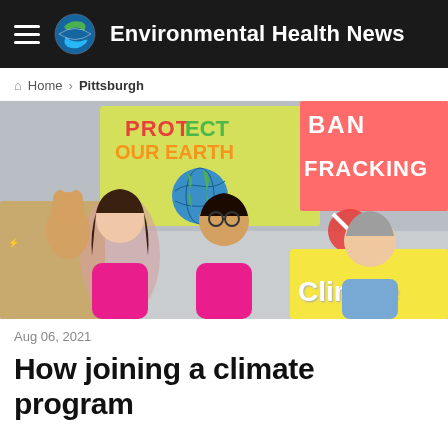Environmental Health News
Home > Pittsburgh
[Figure (photo): Children holding protest signs including 'Protect Our Earth', 'Ban Fracking', and 'Climate' at an outdoor demonstration]
Aug 06, 2021
How joining a climate program